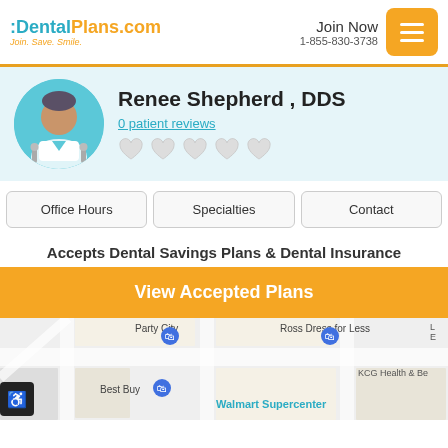:DentalPlans.com Join. Save. Smile. | Join Now 1-855-830-3738
[Figure (illustration): Dentist avatar illustration in teal circle with dental equipment icons]
Renee Shepherd , DDS
0 patient reviews
[Figure (other): Five heart rating icons (empty/gray)]
Office Hours
Specialties
Contact
Accepts Dental Savings Plans & Dental Insurance
View Accepted Plans
[Figure (map): Google Maps view showing nearby stores: Party City, Ross Dress for Less, KCG Health & Be..., Best Buy, Walmart Supercenter]